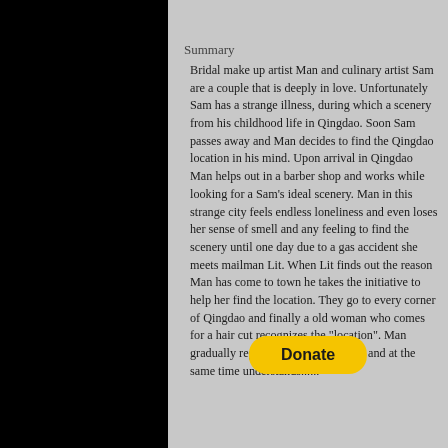Summary
Bridal make up artist Man and culinary artist Sam are a couple that is deeply in love. Unfortunately Sam has a strange illness, during which a scenery from his childhood life in Qingdao. Soon Sam passes away and Man decides to find the Qingdao location in his mind. Upon arrival in Qingdao Man helps out in a barber shop and works while looking for a Sam's ideal scenery. Man in this strange city feels endless loneliness and even loses her sense of smell and any feeling to find the scenery until one day due to a gas accident she meets mailman Lit. When Lit finds out the reason Man has come to town he takes the initiative to help her find the location. They go to every corner of Qingdao and finally a old woman who comes for a hair cut recognizes the "location". Man gradually regains her sense of smell and at the same time understands......
[Figure (other): Donate button - a yellow rounded rectangle button with bold text 'Donate']